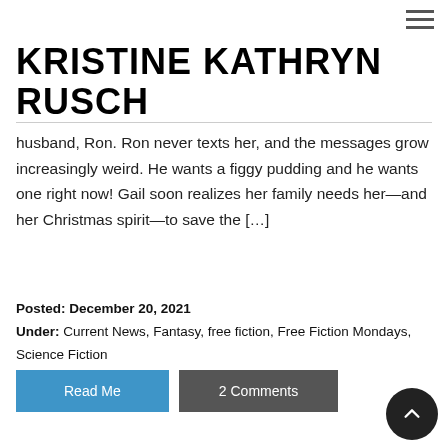KRISTINE KATHRYN RUSCH
husband, Ron. Ron never texts her, and the messages grow increasingly weird. He wants a figgy pudding and he wants one right now! Gail soon realizes her family needs her—and her Christmas spirit—to save the […]
Posted: December 20, 2021
Under: Current News, Fantasy, free fiction, Free Fiction Mondays, Science Fiction
Read Me
2 Comments